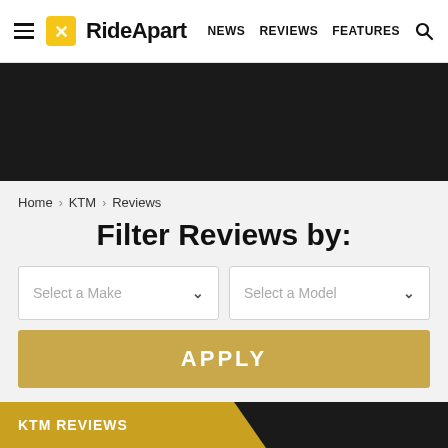RideApart — NEWS  REVIEWS  FEATURES
[Figure (other): Dark hero banner image area (black background)]
Home > KTM > Reviews
Filter Reviews by:
Select a Make  [dropdown]  |  Select a Model  [dropdown]
APPLY
KTM REVIEWS